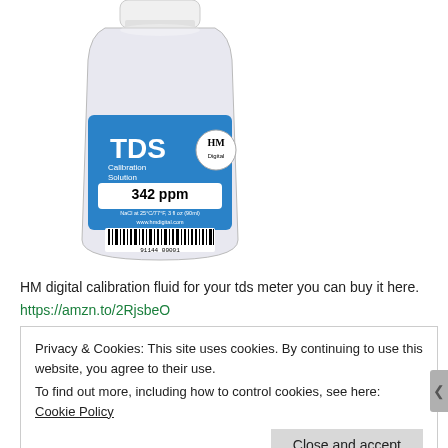[Figure (photo): A small plastic bottle with a blue label reading 'TDS Calibration Solution 342 ppm NaCl at 25°C/77°F, 3 fl oz (90ml)' with HM Digital logo and a barcode at the bottom. The bottle has a white cap.]
HM digital calibration fluid for your tds meter you can buy it here.
https://amzn.to/2RjsbeO
Privacy & Cookies: This site uses cookies. By continuing to use this website, you agree to their use.
To find out more, including how to control cookies, see here: Cookie Policy
Close and accept